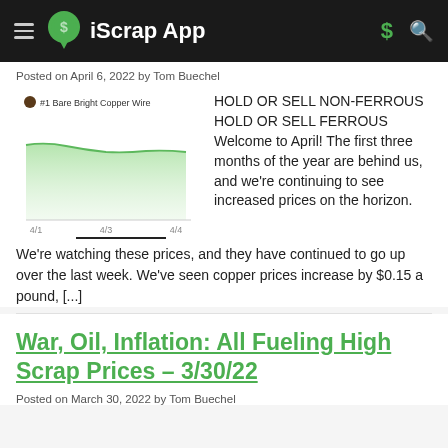iScrap App
Posted on April 6, 2022 by Tom Buechel
[Figure (area-chart): Area chart showing #1 Bare Bright Copper Wire prices over dates 4/1, 4/3, 4/4, with a green shaded area chart showing relatively stable, slightly declining then flat prices.]
HOLD OR SELL NON-FERROUS HOLD OR SELL FERROUS Welcome to April! The first three months of the year are behind us, and we're continuing to see increased prices on the horizon. We're watching these prices, and they have continued to go up over the last week. We've seen copper prices increase by $0.15 a pound, [...]
War, Oil, Inflation: All Fueling High Scrap Prices – 3/30/22
Posted on March 30, 2022 by Tom Buechel